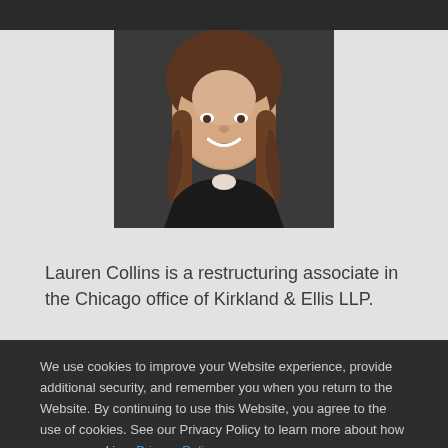[Figure (photo): Headshot portrait of Lauren Collins, a woman with long brown hair, smiling, wearing a dark blazer with a light floral top, photographed against a dark grey background.]
Lauren Collins is a restructuring associate in the Chicago office of Kirkland & Ellis LLP.
We use cookies to improve your Website experience, provide additional security, and remember you when you return to the Website. By continuing to use this Website, you agree to the use of cookies. See our Privacy Policy to learn more about how we use cookies. Privacy Policy